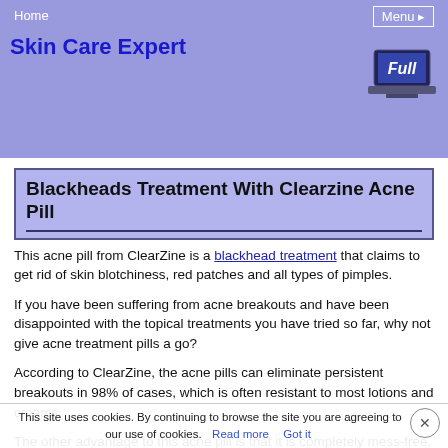Home | Menu | Skin Care Expert
Blackheads Treatment With Clearzine Acne Pill
This acne pill from ClearZine is a blackhead treatment that claims to get rid of skin blotchiness, red patches and all types of pimples.
If you have been suffering from acne breakouts and have been disappointed with the topical treatments you have tried so far, why not give acne treatment pills a go?
According to ClearZine, the acne pills can eliminate persistent breakouts in 98% of cases, which is often resistant to most lotions and creams.
The other advantage to this acne pill is that it is completely mess-free, unlike topical treatments, which often spread onto (and sometimes stain) sheets, towels and clothing. ClearZine is recommended as a total innovation...
This site uses cookies. By continuing to browse the site you are agreeing to our use of cookies. Read more   Got it